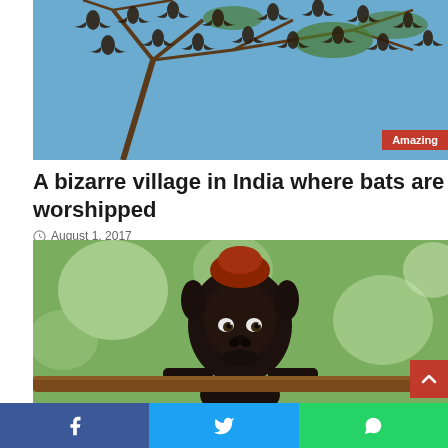[Figure (photo): Many bats hanging from tree branches against a blue sky, with an 'Amazing' category badge in the bottom right corner of the image]
A bizarre village in India where bats are worshipped
August 1, 2017
[Figure (photo): Close-up photo of a young dark-skinned child with reddish hair looking over a wooden railing or bar, with blurred green bokeh background]